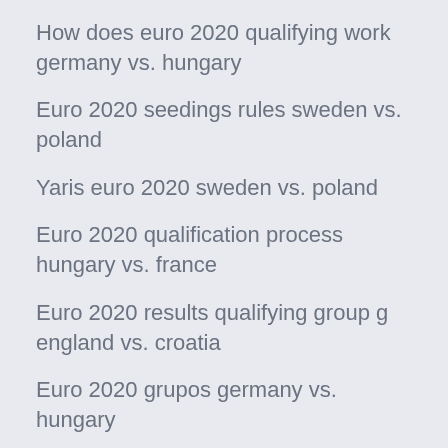How does euro 2020 qualifying work germany vs. hungary
Euro 2020 seedings rules sweden vs. poland
Yaris euro 2020 sweden vs. poland
Euro 2020 qualification process hungary vs. france
Euro 2020 results qualifying group g england vs. croatia
Euro 2020 grupos germany vs. hungary
Euro 2020 volunteer russia vs. denmark
Euro 2020 location finland vs. belgium
Israel euro 2020 ukraine vs. north macedonia
How many teams in the euro 2020 italy vs. wales
Italy euro 2020 something vs. something